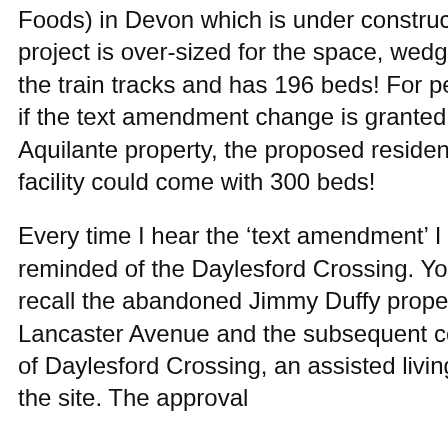Foods) in Devon which is under construction. This project is over-sized for the space, wedged next to the train tracks and has 196 beds! For perspective, if the text amendment change is granted on the Aquilante property, the proposed residential care facility could come with 300 beds!
Every time I hear the ‘text amendment’ I am reminded of the Daylesford Crossing. You may recall the abandoned Jimmy Duffy property on Lancaster Avenue and the subsequent construction of Daylesford Crossing, an assisted living facility on the site. The approval